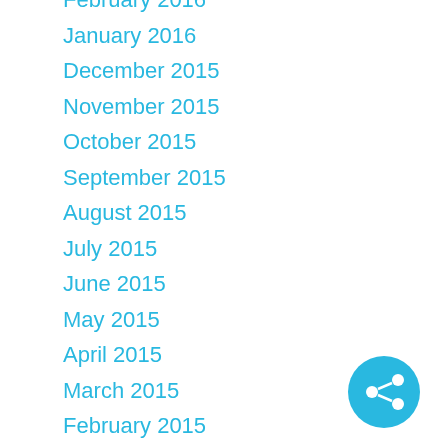February 2016
January 2016
December 2015
November 2015
October 2015
September 2015
August 2015
July 2015
June 2015
May 2015
April 2015
March 2015
February 2015
January 2015
[Figure (illustration): Share button icon — circular cyan/sky-blue button with a share/network icon (three connected circles)]